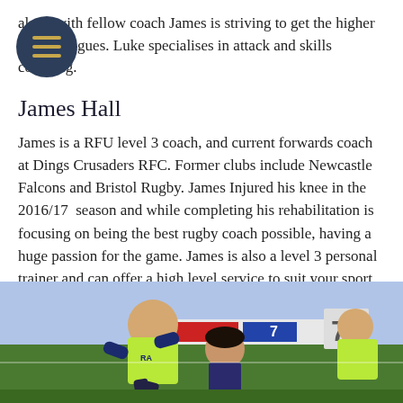along with fellow coach James is striving to get the higher up the leagues. Luke specialises in attack and skills coaching.
James Hall
James is a RFU level 3 coach, and current forwards coach at Dings Crusaders RFC. Former clubs include Newcastle Falcons and Bristol Rugby. James Injured his knee in the 2016/17  season and while completing his rehabilitation is focusing on being the best rugby coach possible, having a huge passion for the game. James is also a level 3 personal trainer and can offer a high level service to suit your sport.
[Figure (photo): Children playing rugby on a field wearing bright green/yellow training bibs, with a number 7 sign visible in the background]